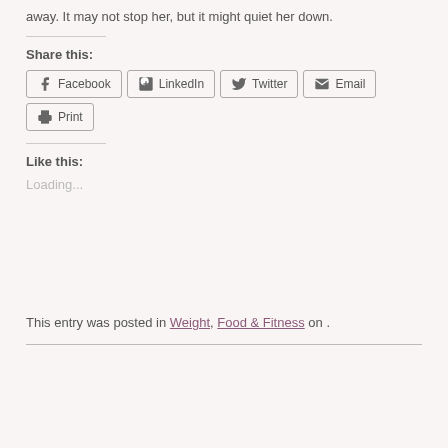away. It may not stop her, but it might quiet her down.
Share this:
Facebook LinkedIn Twitter Email Print
Like this:
Loading...
This entry was posted in Weight, Food & Fitness on .